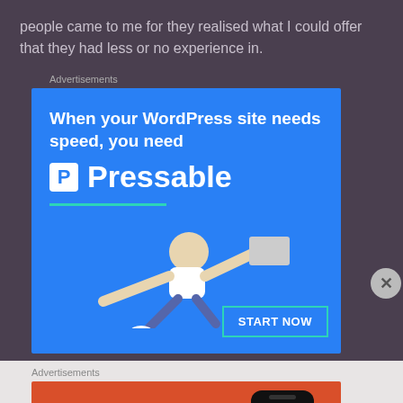people came to me for they realised what I could offer that they had less or no experience in.
[Figure (screenshot): Pressable WordPress hosting advertisement with blue background, bold white headline 'When your WordPress site needs speed, you need Pressable', teal underline, person flying with laptop, and 'START NOW' button]
[Figure (screenshot): DuckDuckGo advertisement with orange-red background, white text 'Search, browse, and email with more privacy. All in One Free App', and DuckDuckGo phone app mockup]